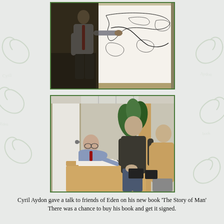[Figure (photo): A man in a grey shirt and red tie standing in front of a whiteboard with a hand-drawn world map, pointing at it during a presentation.]
[Figure (photo): Three people in a room: an older man in a blue shirt and red tie signing a book at a table, a man in a dark jacket standing behind, and an older woman in a tan coat holding a book.]
Cyril Aydon gave a talk to friends of Eden on his new book 'The Story of Man'
There was a chance to buy his book and get it signed.